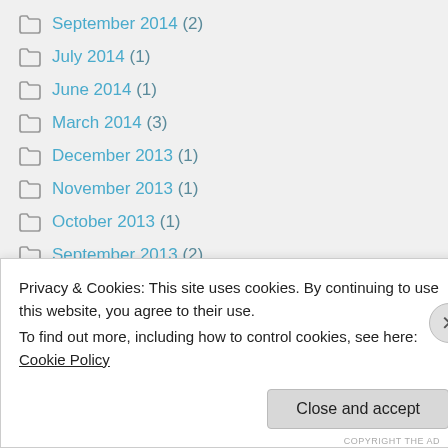September 2014 (2)
July 2014 (1)
June 2014 (1)
March 2014 (3)
December 2013 (1)
November 2013 (1)
October 2013 (1)
September 2013 (2)
August 2013 (1)
June 2013 (1)
Privacy & Cookies: This site uses cookies. By continuing to use this website, you agree to their use. To find out more, including how to control cookies, see here: Cookie Policy